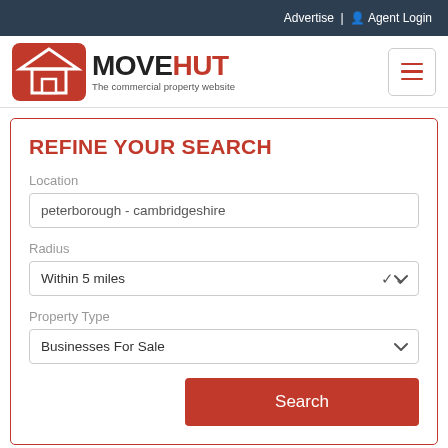Advertise | Agent Login
[Figure (logo): Movehut logo - The commercial property website]
REFINE YOUR SEARCH
Location
peterborough - cambridgeshire
Radius
Within 5 miles
Property Type
Businesses For Sale
Search